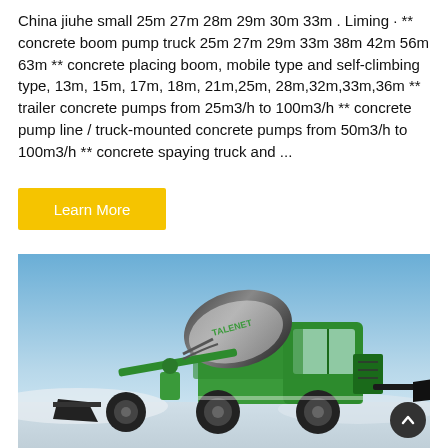China jiuhe small 25m 27m 28m 29m 30m 33m . Liming · ** concrete boom pump truck 25m 27m 29m 33m 38m 42m 56m 63m ** concrete placing boom, mobile type and self-climbing type, 13m, 15m, 17m, 18m, 21m,25m, 28m,32m,33m,36m ** trailer concrete pumps from 25m3/h to 100m3/h ** concrete pump line / truck-mounted concrete pumps from 50m3/h to 100m3/h ** concrete spaying truck and ...
[Figure (other): Button element: yellow rectangular button with text 'Learn More']
[Figure (photo): Photograph of a green self-loading concrete mixer truck (branded TALENET) with a black rotating drum, loader bucket in front, on a snowy/white background with blue sky.]